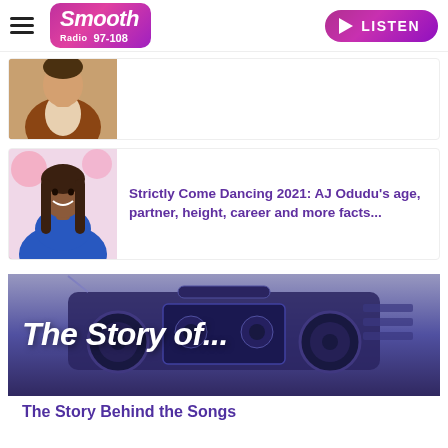Smooth Radio 97-108 | LISTEN
[Figure (photo): Man in brown leather jacket, partial article card, image cropped at top]
[Figure (photo): AJ Odudu smiling, wearing blue, with pink balloons in background — article card thumbnail]
Strictly Come Dancing 2021: AJ Odudu's age, partner, height, career and more facts...
[Figure (photo): Boombox retro stereo image with overlaid text 'The Story of...' in white italic bold]
The Story Behind the Songs